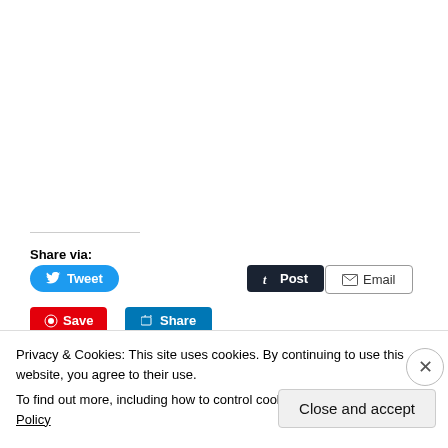Share via:
[Figure (screenshot): Social sharing buttons: Tweet (blue rounded), Post (dark navy), Email (grey outlined), Save (red), Share (blue)]
Privacy & Cookies: This site uses cookies. By continuing to use this website, you agree to their use.
To find out more, including how to control cookies, see here: Cookie Policy
Close and accept